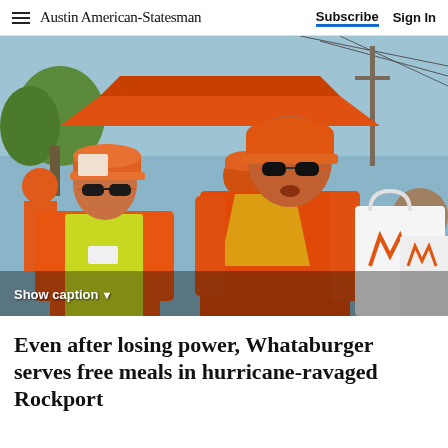Austin American-Statesman  Subscribe  Sign In
[Figure (photo): Whataburger employees in orange uniforms, caps, and sunglasses distributing food in bags during hurricane relief efforts in Rockport. Several workers wearing bright orange polo shirts and yellow-green safety vests are visible handing out white Whataburger bags outdoors.]
Show caption ▼
Even after losing power, Whataburger serves free meals in hurricane-ravaged Rockport